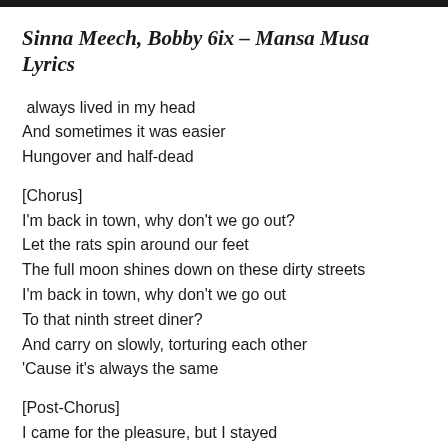Sinna Meech, Bobby 6ix – Mansa Musa Lyrics
always lived in my head
And sometimes it was easier
Hungover and half-dead
[Chorus]
I'm back in town, why don't we go out?
Let the rats spin around our feet
The full moon shines down on these dirty streets
I'm back in town, why don't we go out
To that ninth street diner?
And carry on slowly, torturing each other
'Cause it's always the same
[Post-Chorus]
I came for the pleasure, but I stayed
Yes, I stayed for the pain